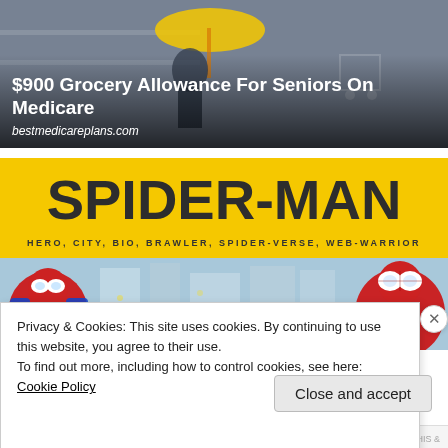[Figure (photo): Ad banner with photo of seniors in a store, yellow umbrella visible, shopping carts. Dark overlay with text.]
$900 Grocery Allowance For Seniors On Medicare
bestmedicareplans.com
[Figure (illustration): Spider-Man comic/game banner with yellow background, large bold 'SPIDER-MAN' title, subtitle 'HERO, CITY, BIO, BRAWLER, SPIDER-VERSE, WEB-WARRIOR', two Spider-Man characters on colorful city background.]
Privacy & Cookies: This site uses cookies. By continuing to use this website, you agree to their use.
To find out more, including how to control cookies, see here: Cookie Policy
Close and accept